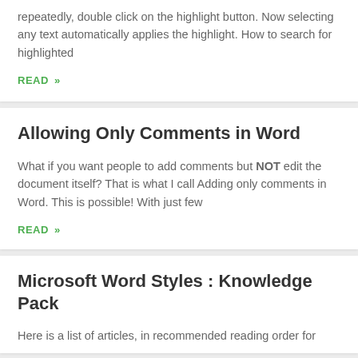repeatedly, double click on the highlight button. Now selecting any text automatically applies the highlight. How to search for highlighted
READ »
Allowing Only Comments in Word
What if you want people to add comments but NOT edit the document itself? That is what I call Adding only comments in Word. This is possible! With just few
READ »
Microsoft Word Styles : Knowledge Pack
Here is a list of articles, in recommended reading order for